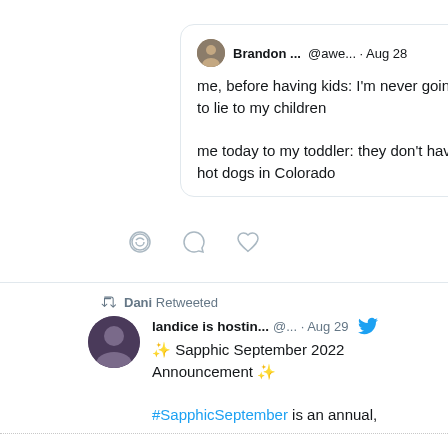[Figure (screenshot): Twitter/X screenshot showing a tweet by Brandon... @awe... on Aug 28 saying: 'me, before having kids: I'm never going to lie to my children

me today to my toddler: they don't have hot dogs in Colorado']
[Figure (screenshot): Retweet by Dani. Tweet by landice is hostin... @... on Aug 29 with Twitter bird icon: '✨ Sapphic September 2022 Announcement ✨

#SapphicSeptember is an annual,']
CATEGORIES
Book News